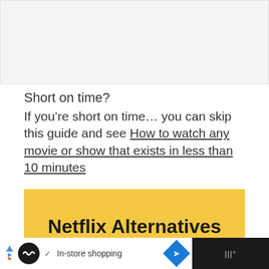[Figure (screenshot): Gray placeholder image area at the top of the page]
Short on time?
If you’re short on time… you can skip this guide and see How to watch any movie or show that exists in less than 10 minutes
Netflix Alternatives (for those who think Netflix sucks)
[Figure (screenshot): Advertisement bar at the bottom showing a circular logo, checkmark, In-store shopping text, blue diamond arrow icon, and dark right panel with signal/wifi icon]